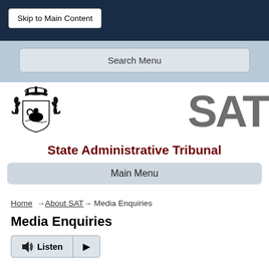Skip to Main Content
Search Menu
[Figure (logo): Western Australia Coat of Arms and SAT (State Administrative Tribunal) logo]
State Administrative Tribunal
Main Menu
Home → About SAT → Media Enquiries
Media Enquiries
Listen ▶